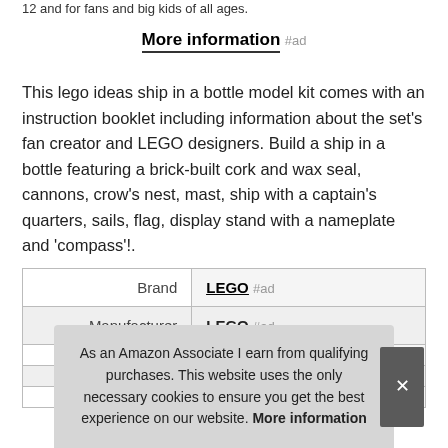12 and for fans and big kids of all ages.
More information #ad
This lego ideas ship in a bottle model kit comes with an instruction booklet including information about the set's fan creator and LEGO designers. Build a ship in a bottle featuring a brick-built cork and wax seal, cannons, crow's nest, mast, ship with a captain's quarters, sails, flag, display stand with a nameplate and 'compass'!.
|  |  |
| --- | --- |
| Brand | LEGO #ad |
| Manufacturer | LEGO #ad |
|  |  |
|  |  |
|  |  |
As an Amazon Associate I earn from qualifying purchases. This website uses the only necessary cookies to ensure you get the best experience on our website. More information